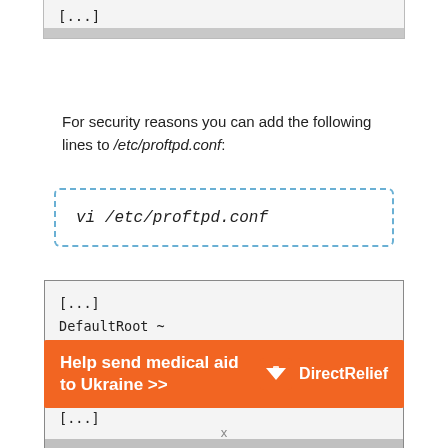[...]
For security reasons you can add the following lines to /etc/proftpd.conf:
vi /etc/proftpd.conf
[...]
DefaultRoot ~
IdentLookups off
ServerIdent on "FTP Server ready."
[...]
[Figure (infographic): Orange advertisement banner: 'Help send medical aid to Ukraine >>' with DirectRelief logo on right]